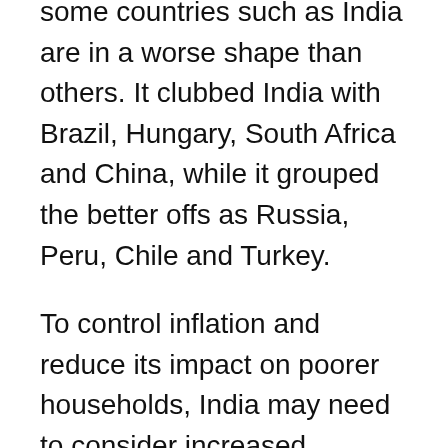some countries such as India are in a worse shape than others. It clubbed India with Brazil, Hungary, South Africa and China, while it grouped the better offs as Russia, Peru, Chile and Turkey.
To control inflation and reduce its impact on poorer households, India may need to consider increased subsidies for fuel.
The report stated “large net importers of food and energy may need to impose price controls or increased food and fuel subsidies to limit the rise in inflation, thereby cushioning the cost-of-living impact on poorer households but at the